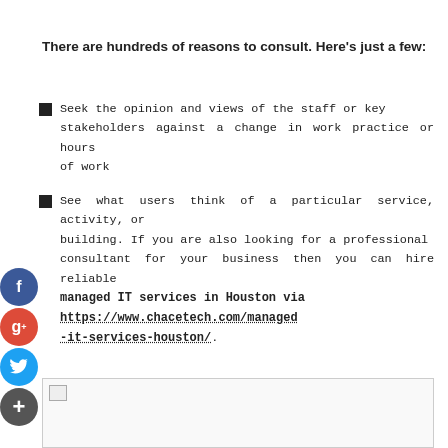There are hundreds of reasons to consult. Here's just a few:
Seek the opinion and views of the staff or key stakeholders against a change in work practice or hours of work
See what users think of a particular service, activity, or building. If you are also looking for a professional consultant for your business then you can hire reliable managed IT services in Houston via https://www.chacetech.com/managed-it-services-houston/.
[Figure (photo): Image placeholder at bottom of page]